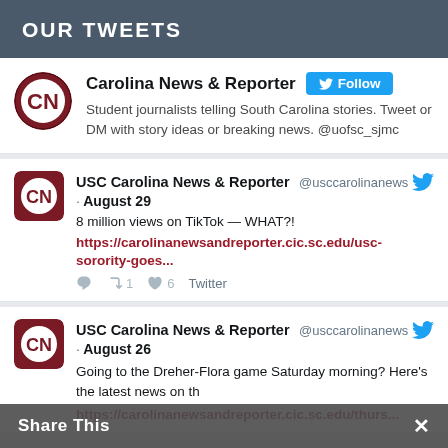OUR TWEETS
Carolina News & Reporter — Student journalists telling South Carolina stories. Tweet or DM with story ideas or breaking news. @uofsc_sjmc
USC Carolina News & Reporter @usccarolinanews · August 29 — 8 million views on TikTok — WHAT?! https://carolinanewsandreporter.cic.sc.edu/usc-sorority-goes...
USC Carolina News & Reporter @usccarolinanews · August 26 — Going to the Dreher-Flora game Saturday morning? Here's the latest news on the Dreher. https://carolinanewsandreporter.cic.sc.edu/thurs...
Share This